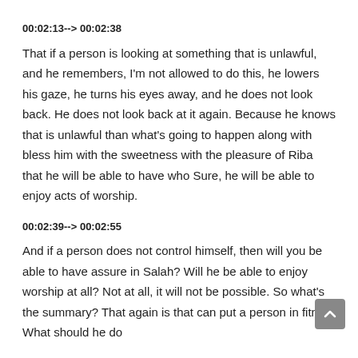00:02:13--> 00:02:38
That if a person is looking at something that is unlawful, and he remembers, I'm not allowed to do this, he lowers his gaze, he turns his eyes away, and he does not look back. He does not look back at it again. Because he knows that is unlawful than what's going to happen along with bless him with the sweetness with the pleasure of Riba that he will be able to have who Sure, he will be able to enjoy acts of worship.
00:02:39--> 00:02:55
And if a person does not control himself, then will you be able to have assure in Salah? Will he be able to enjoy worship at all? Not at all, it will not be possible. So what's the summary? That again is that can put a person in fitna. What should he do...